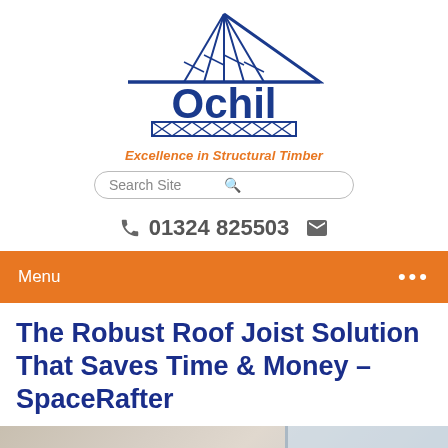[Figure (logo): Ochil logo with blue roof truss graphic above the word Ochil and a decorative truss beam below]
Excellence in Structural Timber
Search Site
01324 825503
Menu
The Robust Roof Joist Solution That Saves Time & Money – SpaceRafter
[Figure (photo): Blurred interior photo showing shelves with orange boxes and a window with vertical light strips on the right]